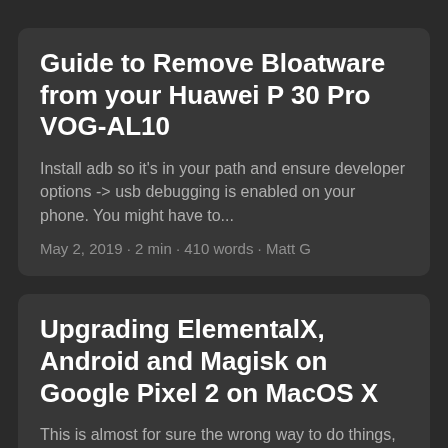Guide to Remove Bloatware from your Huawei P 30 Pro VOG-AL10
Install adb so it's in your path and ensure developer options -> usb debugging is enabled on your phone. You might have to...
May 2, 2019 · 2 min · 410 words · Matt G
Upgrading ElementalX, Android and Magisk on Google Pixel 2 on MacOS X
This is almost for sure the wrong way to do things, but this is my current process (as of apr 22, 2018) to upgrade my phon...
April 22, 2018 · 2 min · 274 words · Matt G